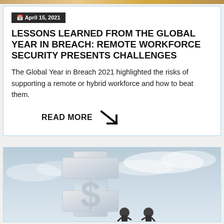[Figure (photo): Top image strip — partial photo visible at very top of page]
April 15, 2021
LESSONS LEARNED FROM THE GLOBAL YEAR IN BREACH: REMOTE WORKFORCE SECURITY PRESENTS CHALLENGES
The Global Year in Breach 2021 highlighted the risks of supporting a remote or hybrid workforce and how to beat them.
READ MORE
[Figure (photo): Large 3D dollar sign sculpture with small figures, cloudy sky background]